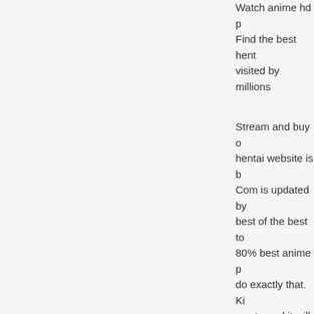Watch anime hd p Find the best hent visited by millions
Stream and buy o hentai website is b Com is updated by best of the best to 80% best anime p do exactly that. Ki want - and it will a get to watch the cl